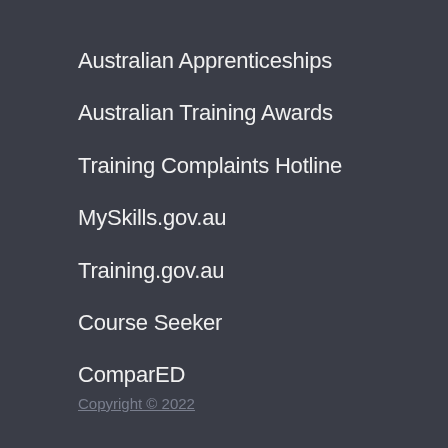Australian Apprenticeships
Australian Training Awards
Training Complaints Hotline
MySkills.gov.au
Training.gov.au
Course Seeker
ComparED
Copyright © 2022